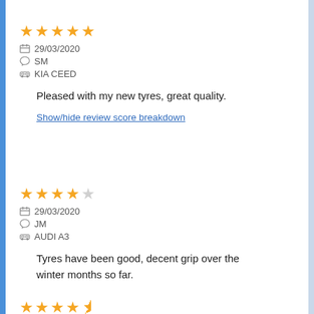★★★★★ 29/03/2020 SM KIA CEED — Pleased with my new tyres, great quality. Show/hide review score breakdown
★★★★ 29/03/2020 JM AUDI A3 — Tyres have been good, decent grip over the winter months so far. Show/hide review score breakdown
★★★★½ 29/03/2020